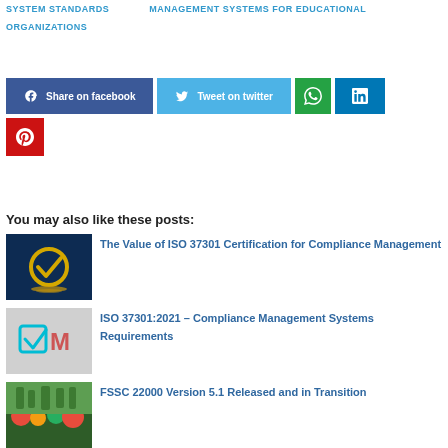SYSTEM STANDARDS   MANAGEMENT SYSTEMS FOR EDUCATIONAL ORGANIZATIONS
[Figure (other): Social sharing buttons: Share on facebook, Tweet on twitter, WhatsApp, LinkedIn, Pinterest]
You may also like these posts:
[Figure (photo): Dark blue background with gold checkmark badge graphic - ISO 37301 certification post thumbnail]
The Value of ISO 37301 Certification for Compliance Management
[Figure (photo): Light gray background with teal 3D checkbox and red letters - ISO 37301:2021 post thumbnail]
ISO 37301:2021 – Compliance Management Systems Requirements
[Figure (photo): Colorful vegetables/food photo - FSSC 22000 post thumbnail]
FSSC 22000 Version 5.1 Released and in Transition